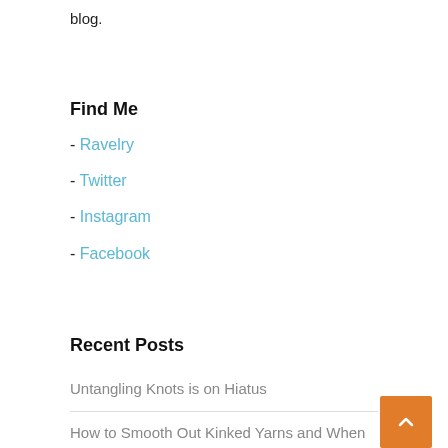blog.
Find Me
- Ravelry
- Twitter
- Instagram
- Facebook
Recent Posts
Untangling Knots is on Hiatus
How to Smooth Out Kinked Yarns and When to Do It